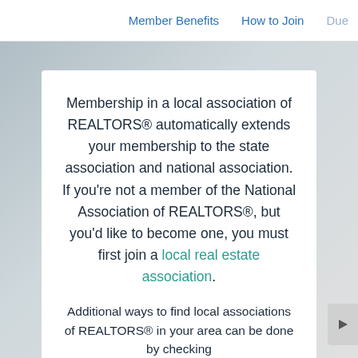Member Benefits   How to Join   Due
Membership in a local association of REALTORS® automatically extends your membership to the state association and national association. If you're not a member of the National Association of REALTORS®, but you'd like to become one, you must first join a local real estate association.
Learn more
Additional ways to find local associations of REALTORS® in your area can be done by checking